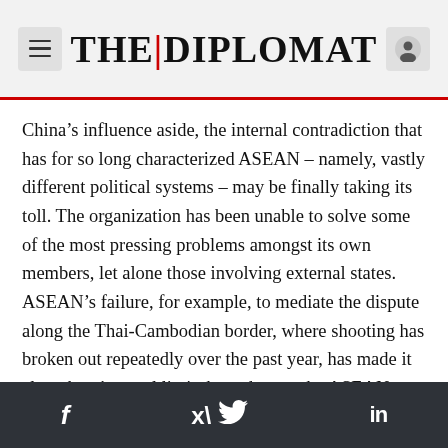THE DIPLOMAT
China’s influence aside, the internal contradiction that has for so long characterized ASEAN – namely, vastly different political systems – may be finally taking its toll. The organization has been unable to solve some of the most pressing problems amongst its own members, let alone those involving external states. ASEAN’s failure, for example, to mediate the dispute along the Thai-Cambodian border, where shooting has broken out repeatedly over the past year, has made it clear there’s a real limit these days to the ASEAN way.■
ASEAN’s heyday was one in which its members could band together to keep outside great power
f  ✓  in